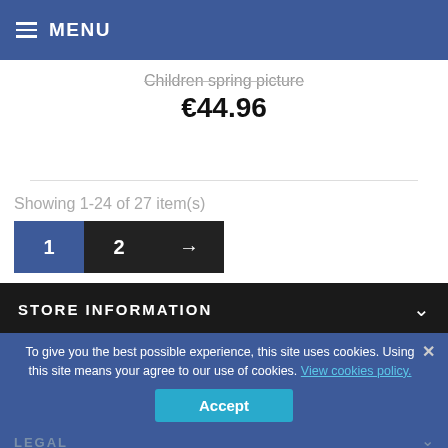MENU
Children spring picture
€44.96
Showing 1-24 of 27 item(s)
STORE INFORMATION
To give you the best possible experience, this site uses cookies. Using this site means your agree to our use of cookies. View cookies policy.
LEGAL